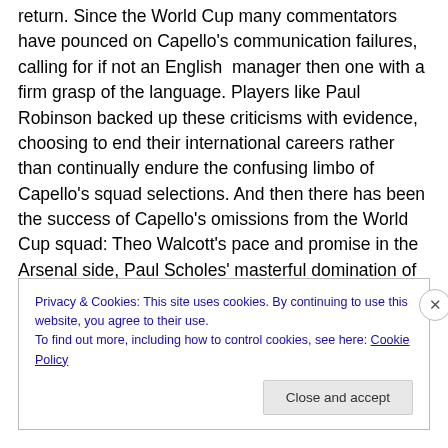return. Since the World Cup many commentators have pounced on Capello's communication failures, calling for if not an English manager then one with a firm grasp of the language. Players like Paul Robinson backed up these criticisms with evidence, choosing to end their international careers rather than continually endure the confusing limbo of Capello's squad selections. And then there has been the success of Capello's omissions from the World Cup squad: Theo Walcott's pace and promise in the Arsenal side, Paul Scholes' masterful domination of midfield, and his assertion that Capello simply left it too
Privacy & Cookies: This site uses cookies. By continuing to use this website, you agree to their use.
To find out more, including how to control cookies, see here: Cookie Policy